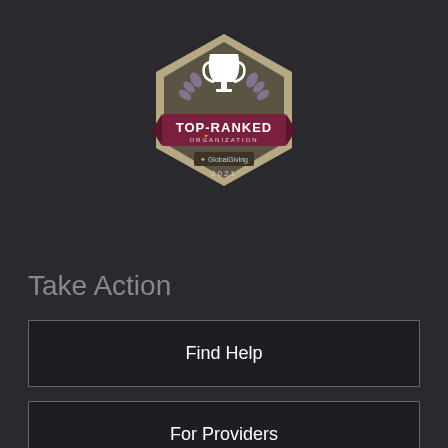[Figure (logo): GlobalGiving Top-Ranked Organization 2021 badge — hexagonal shield shape in olive/tan, white trophy icon at top, laurel leaves, dark red banner reading TOP-RANKED, text ORGANIZATION, GlobalGiving logo, and 2021]
Take Action
Find Help
For Providers